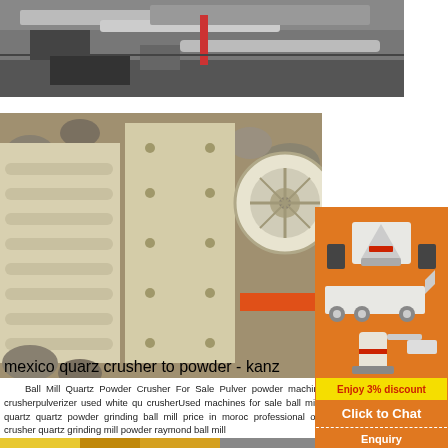[Figure (photo): Mining/crushing machinery viewed from side angle on rocky terrain]
[Figure (photo): Close-up of jaw crusher plates with ribbed metallic surface and round wheel/flywheel visible]
mexico quarz crusher to powder - kanz
Ball Mill Quartz Powder Crusher For Sale Pulver powder machine crusherpulverizer used white qu crusherUsed machines for sale ball mills quartz quartz powder grinding ball mill price in moroc professional ore crusher quartz grinding mill powder raymond ball mill
[Figure (photo): Sidebar showing three crusher/mill machine product images on orange background]
Enjoy 3% discount
Click to Chat
Enquiry
[Figure (photo): Partial bottom photo showing yellow and brown construction/mining machinery]